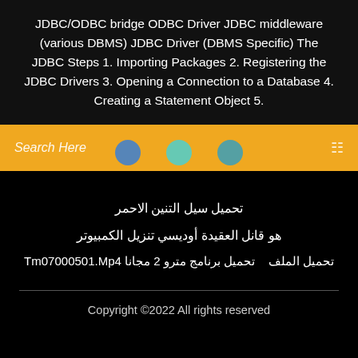JDBC/ODBC bridge ODBC Driver JDBC middleware (various DBMS) JDBC Driver (DBMS Specific) The JDBC Steps 1. Importing Packages 2. Registering the JDBC Drivers 3. Opening a Connection to a Database 4. Creating a Statement Object 5.
Search Here
تحميل سيل التنين الاحمر
هو قانل العقيدة أوديسي تنزيل الكمبيوتر
Tm07000501.Mp4 تحميل الملف   تحميل برنامج مترو 2 مجانا
Copyright ©2022 All rights reserved